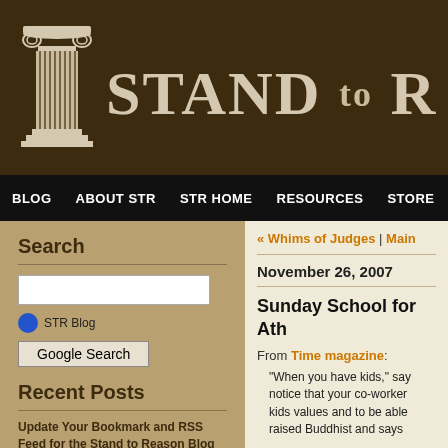[Figure (logo): Stand to Reason website header with ionic column icon and 'STAND to R' text on dark brown background]
BLOG  ABOUT STR  STR HOME  RESOURCES  STORE
Search
STR Blog  Google Search
Recent Posts
Update Your Bookmark and RSS Feed for the Stand to Reason Blog
« Whims of Judges | Main
November 26, 2007
Sunday School for Ath
From Time magazine:
"When you have kids," say notice that your co-worker kids values and to be able raised Buddhist and says